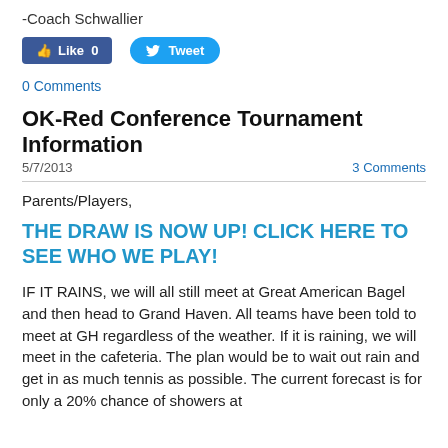-Coach Schwallier
[Figure (screenshot): Facebook Like button showing 0 likes and Twitter Tweet button]
0 Comments
OK-Red Conference Tournament Information
5/7/2013
3 Comments
Parents/Players,
THE DRAW IS NOW UP!  CLICK HERE TO SEE WHO WE PLAY!
IF IT RAINS, we will all still meet at Great American Bagel and then head to Grand Haven.  All teams have been told to meet at GH regardless of the weather.  If it is raining, we will meet in the cafeteria.  The plan would be to wait out rain and get in as much tennis as possible.  The current forecast is for only a 20% chance of showers at